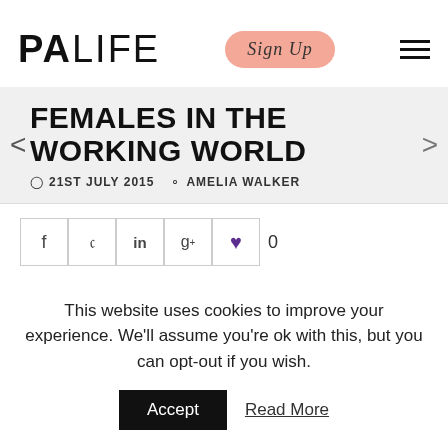PALIFE | Sign Up
FEMALES IN THE WORKING WORLD
21ST JULY 2015   AMELIA WALKER
f  y  in  g+  ♥  0
This website uses cookies to improve your experience. We'll assume you're ok with this, but you can opt-out if you wish.
Accept   Read More